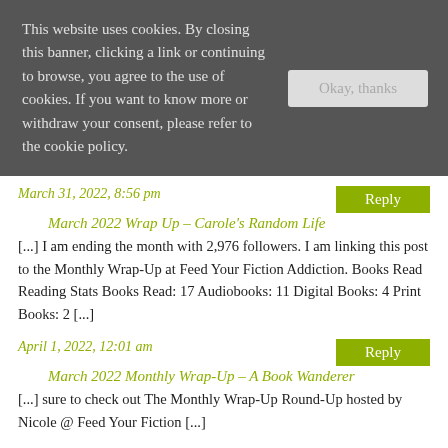This website uses cookies. By closing this banner, clicking a link or continuing to browse, you agree to the use of cookies. If you want to know more or withdraw your consent, please refer to the cookie policy.
Okay, thanks
March 31, 2022, 8:56 pm
Reply
March 2022 Wrap Up – Carole's Random Life
[...] I am ending the month with 2,976 followers. I am linking this post to the Monthly Wrap-Up at Feed Your Fiction Addiction. Books Read Reading Stats Books Read: 17 Audiobooks: 11 Digital Books: 4 Print Books: 2 [...]
April 1, 2022, 12:01 am
Reply
March 2022 Monthly Wrap-Up – A Book Wanderer
[...] sure to check out The Monthly Wrap-Up Round-Up hosted by Nicole @ Feed Your Fiction [...]